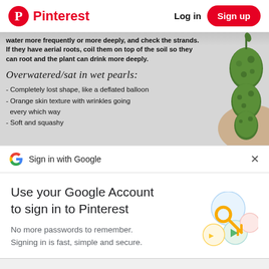Pinterest  |  Log in  Sign up
[Figure (screenshot): Plant care infographic showing overwatered/sat in wet pearls with handwritten text and green wrinkled succulent pearls on the right. Bold text reads: 'If they have aerial roots, coil them on top of the soil so they can root and the plant can drink more deeply.' Handwritten heading: 'Overwatered/sat in wet pearls:' with bullet points: '- Completely lost shape, like a deflated balloon', '- Orange skin texture with wrinkles going every which way', '- Soft and squashy']
Sign in with Google
Use your Google Account to sign in to Pinterest
No more passwords to remember. Signing in is fast, simple and secure.
Continue